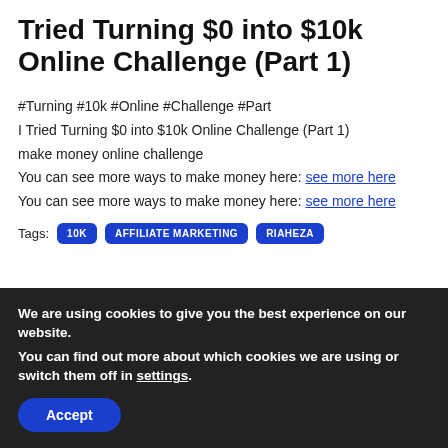Tried Turning $0 into $10k Online Challenge (Part 1)
#Turning #10k #Online #Challenge #Part
I Tried Turning $0 into $10k Online Challenge (Part 1)
make money online challenge
You can see more ways to make money here: see more here
You can see more ways to make money here: see more here
Tags: 10K  AFFILIATE MARKETING  RIAHEZA
We are using cookies to give you the best experience on our website.
You can find out more about which cookies we are using or switch them off in settings.
Accept